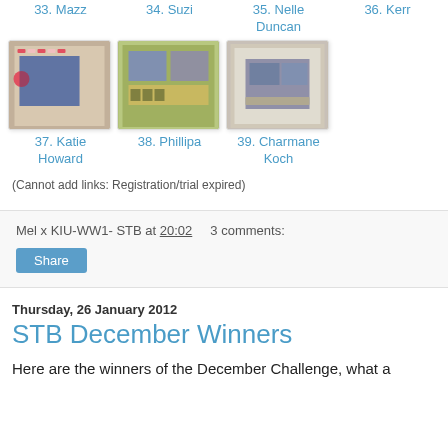33. Mazz
34. Suzi
35. Nelle Duncan
36. Kerr
[Figure (photo): Scrapbook page thumbnail for entry 37 Katie Howard — child photo with bunting decoration]
[Figure (photo): Scrapbook page thumbnail for entry 38 Phillipa — blue/green patterned page with photos]
[Figure (photo): Scrapbook page thumbnail for entry 39 Charmane Koch — lace/white framed scrapbook page]
37. Katie Howard
38. Phillipa
39. Charmane Koch
(Cannot add links: Registration/trial expired)
Mel x KIU-WW1- STB at 20:02    3 comments:
Share
Thursday, 26 January 2012
STB December Winners
Here are the winners of the December Challenge, what a